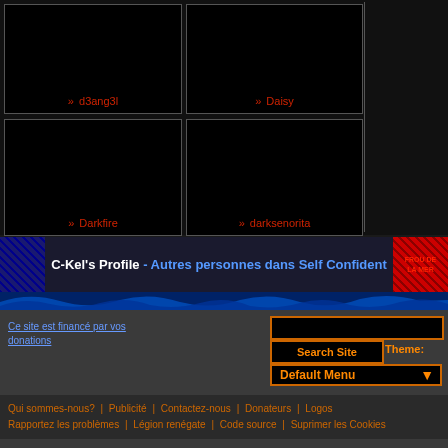[Figure (screenshot): Grid of 4 black profile image cells with red labels: d3ang3l, Daisy, Darkfire, darksenorita]
» d3ang3l
» Daisy
» Darkfire
» darksenorita
C-Kel's Profile - Autres personnes dans Self Confident
Ce site est financé par vos donations
Search Site   Theme:
Default Menu
Qui sommes-nous? | Publicité | Contactez-nous | Donateurs | Logos | Rapportez les problèmes | Légion renégate | Code source | Suprimer les Cookies